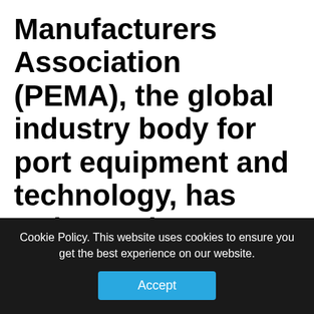Manufacturers Association (PEMA), the global industry body for port equipment and technology, has welcomed two new Swedish member companies, Elme Spreaders and Timars Svet.
PTI previously published an article stating that Ottonel Popesco, President of the Board of PEMA, and Mr. Gunther Bonn, President of FERRORT, signed a
Cookie Policy. This website uses cookies to ensure you get the best experience on our website.